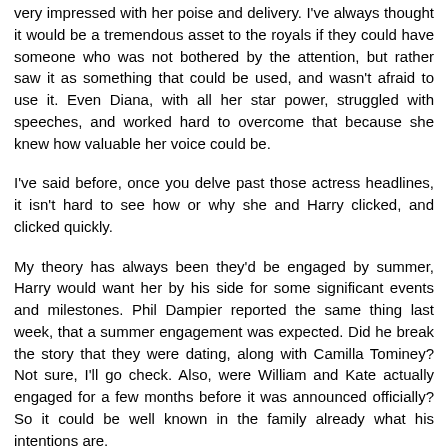very impressed with her poise and delivery. I've always thought it would be a tremendous asset to the royals if they could have someone who was not bothered by the attention, but rather saw it as something that could be used, and wasn't afraid to use it. Even Diana, with all her star power, struggled with speeches, and worked hard to overcome that because she knew how valuable her voice could be.
I've said before, once you delve past those actress headlines, it isn't hard to see how or why she and Harry clicked, and clicked quickly.
My theory has always been they'd be engaged by summer, Harry would want her by his side for some significant events and milestones. Phil Dampier reported the same thing last week, that a summer engagement was expected. Did he break the story that they were dating, along with Camilla Tominey? Not sure, I'll go check. Also, were William and Kate actually engaged for a few months before it was announced officially? So it could be well known in the family already what his intentions are.
Reply